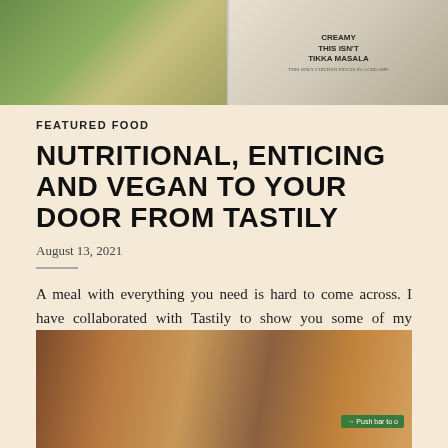[Figure (photo): Top image showing food packaging - green boxes on left, and a box reading 'CREAMY THIS ISN'T TIKKA MASALA' on right]
FEATURED FOOD
NUTRITIONAL, ENTICING AND VEGAN TO YOUR DOOR FROM TASTILY
August 13, 2021
A meal with everything you need is hard to come across. I have collaborated with Tastily to show you some of my favorite vegan options from their menu, Tastily makes…
2 COMMENTS
Read More
[Figure (photo): Bottom image showing people outside a restaurant with brick wall, partial text 'Push bar to o' visible on a sign]